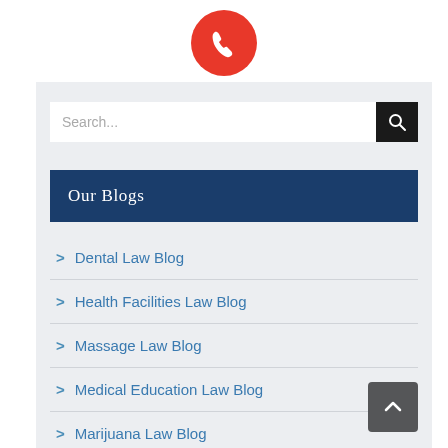[Figure (illustration): Red circular phone call button with white phone icon]
[Figure (screenshot): Search bar with white input field and black search button with magnifying glass icon]
Our Blogs
Dental Law Blog
Health Facilities Law Blog
Massage Law Blog
Medical Education Law Blog
Marijuana Law Blog